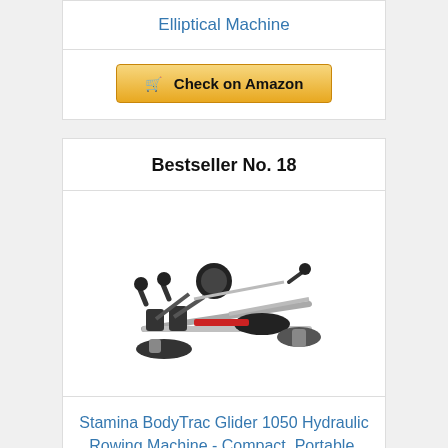Elliptical Machine
Check on Amazon
Bestseller No. 18
[Figure (photo): Stamina BodyTrac Glider 1050 Hydraulic Rowing Machine product photo]
Stamina BodyTrac Glider 1050 Hydraulic Rowing Machine - Compact, Portable, Folding Rower w/Smart...